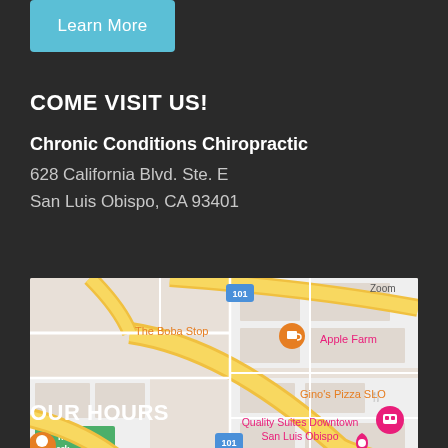[Figure (other): Learn More button - light blue rounded rectangle button with white text]
COME VISIT US!
Chronic Conditions Chiropractic
628 California Blvd. Ste. E
San Luis Obispo, CA 93401
[Figure (map): Google Maps screenshot showing area around 628 California Blvd, San Luis Obispo CA 93401. Visible landmarks: The Boba Stop, Apple Farm, Gino's Pizza SLO, Quality Suites Downtown San Luis Obispo. Highway 101 visible.]
OUR HOURS